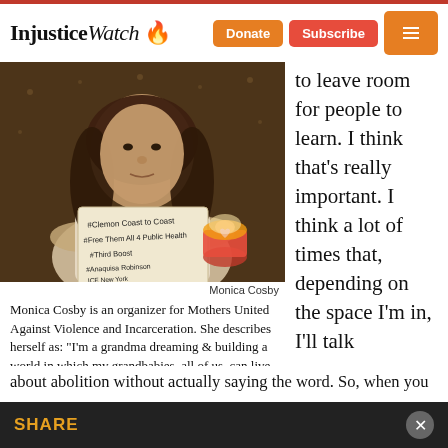InjusticeWatch | Donate | Subscribe
[Figure (photo): Monica Cosby holding a sign with hashtags #ClemonCoasttoCoast #FreeThemAll4PublicHealth #TrueBoost #AnaquisaRobinson ICE New York, holding a candle in her other hand]
Monica Cosby
Monica Cosby is an organizer for Mothers United Against Violence and Incarceration. She describes herself as: “I’m a grandma dreaming & building a world in which my grandbabies, all of us, can live freely.”
to leave room for people to learn. I think that’s really important. I think a lot of times that, depending on the space I’m in, I’ll talk
about abolition without actually saying the word. So, when you
SHARE